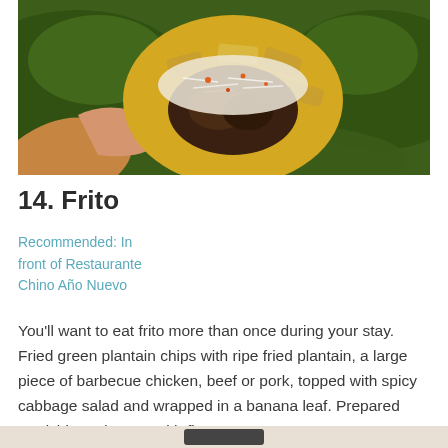[Figure (photo): A hand holding a frito — fried green plantain chips with ripe fried plantain, barbecue meat, and spicy cabbage salad, wrapped in a banana leaf.]
14. Frito
Recommended: In front of Restaurante Chino Año Nuevo
You'll want to eat frito more than once during your stay. Fried green plantain chips with ripe fried plantain, a large piece of barbecue chicken, beef or pork, topped with spicy cabbage salad and wrapped in a banana leaf. Prepared roadside and eaten with fingers.